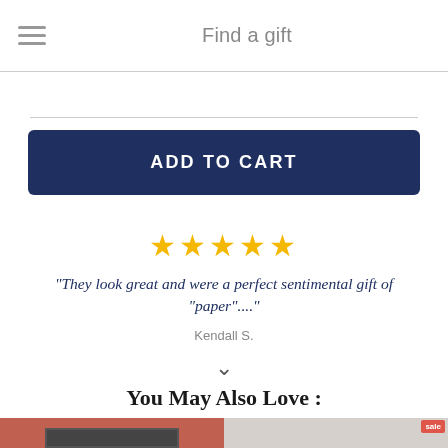Find a gift
ADD TO CART
★★★★★
"They look great and were a perfect sentimental gift of "paper"...."
Kendall S.
∨
You May Also Love :
[Figure (photo): Two product thumbnail images side by side: left shows a picture frame on red fabric, right shows a black-and-white architectural photo with a red 'sale' badge.]